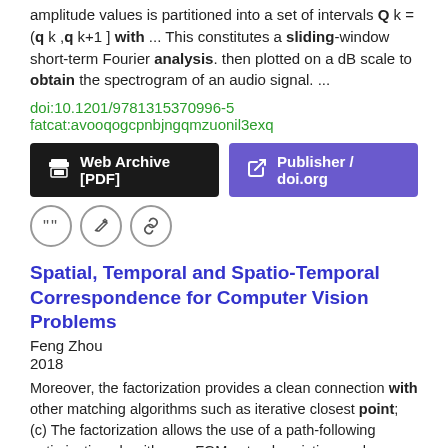amplitude values is partitioned into a set of intervals Q k = (q k ,q k+1 ] with  ...  This constitutes a sliding-window short-term Fourier analysis. then plotted on a dB scale to obtain the spectrogram of an audio signal.  ...
doi:10.1201/9781315370996-5
fatcat:avooqogcpnbjngqmzuonil3exq
[Figure (other): Two buttons: 'Web Archive [PDF]' in black and 'Publisher / doi.org' in purple, plus three icon circles (quote, edit, link)]
Spatial, Temporal and Spatio-Temporal Correspondence for Computer Vision Problems
Feng Zhou
2018
Moreover, the factorization provides a clean connection with other matching algorithms such as iterative closest point; (c) The factorization allows the use of a path-following optimization algorithm,  ...  FGM extends existing work on graph matching (GM) by finding an exact factorization of the affinity matrix.  ...  For instance, given two sets of coplanar points in two images, the matching between points should be constrained by an affine